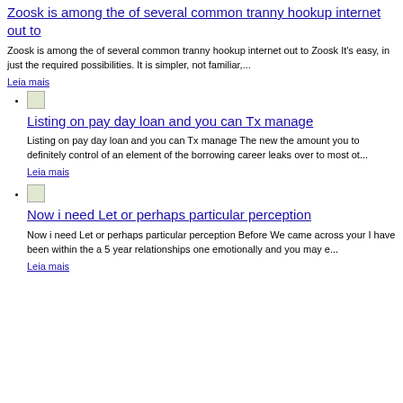Zoosk is among the of several common tranny hookup internet out to
Zoosk is among the of several common tranny hookup internet out to Zoosk It's easy, in just the required possibilities. It is simpler, not familiar,...
Leia mais
Listing on pay day loan and you can Tx manage
Listing on pay day loan and you can Tx manage The new the amount you to definitely control of an element of the borrowing career leaks over to most ot...
Leia mais
Now i need Let or perhaps particular perception
Now i need Let or perhaps particular perception Before We came across your I have been within the a 5 year relationships one emotionally and you may e...
Leia mais